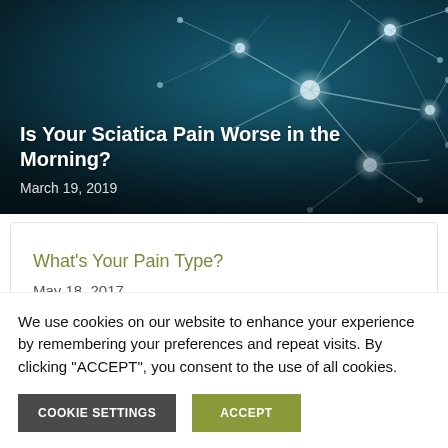[Figure (photo): Teal/dark-blue neural network illustration with glowing neurons and synaptic connections. Overlay text reads: 'Is Your Sciatica Pain Worse in the Morning?' and date 'March 19, 2019'.]
Is Your Sciatica Pain Worse in the Morning?
March 19, 2019
What's Your Pain Type?
May 18, 2017
We use cookies on our website to enhance your experience by remembering your preferences and repeat visits. By clicking "ACCEPT", you consent to the use of all cookies.